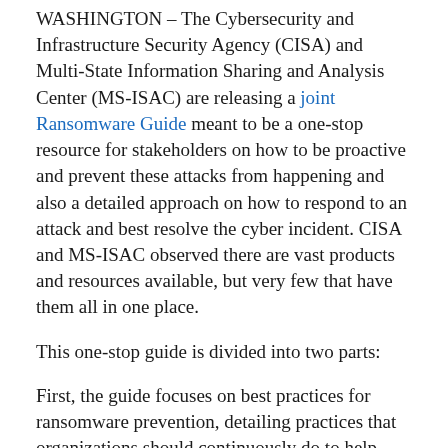WASHINGTON – The Cybersecurity and Infrastructure Security Agency (CISA) and Multi-State Information Sharing and Analysis Center (MS-ISAC) are releasing a joint Ransomware Guide meant to be a one-stop resource for stakeholders on how to be proactive and prevent these attacks from happening and also a detailed approach on how to respond to an attack and best resolve the cyber incident. CISA and MS-ISAC observed there are vast products and resources available, but very few that have them all in one place.
This one-stop guide is divided into two parts:
First, the guide focuses on best practices for ransomware prevention, detailing practices that organizations should continuously do to help manage the risk posed by ransomware and other cyber threats. It is intended to enable forward-leaning actions to successfully thwart and confront malicious cyber activity associated with